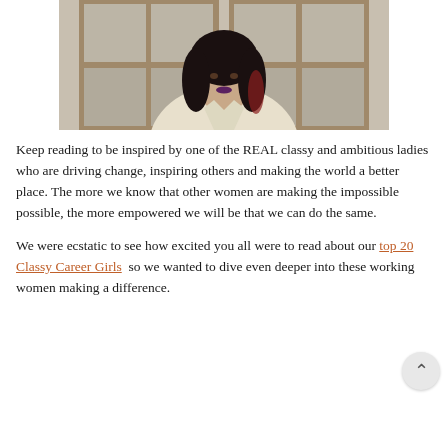[Figure (photo): A woman with long dark hair with reddish highlights, wearing a cream/ivory blazer, standing in front of wooden-framed glass doors. She has purple/dark lip makeup.]
Keep reading to be inspired by one of the REAL classy and ambitious ladies who are driving change, inspiring others and making the world a better place. The more we know that other women are making the impossible possible, the more empowered we will be that we can do the same.
We were ecstatic to see how excited you all were to read about our top 20 Classy Career Girls  so we wanted to dive even deeper into these working women making a difference.